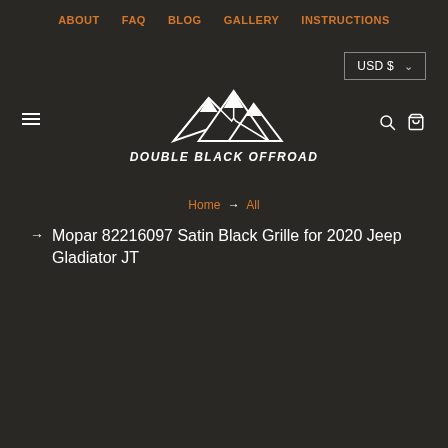ABOUT  FAQ  BLOG  GALLERY  INSTRUCTIONS
USD $ ∨
[Figure (logo): Double Black Offroad mountain peak logo with text DOUBLE BLACK OFFROAD below]
Home → All
Mopar 82216097 Satin Black Grille for 2020 Jeep Gladiator JT